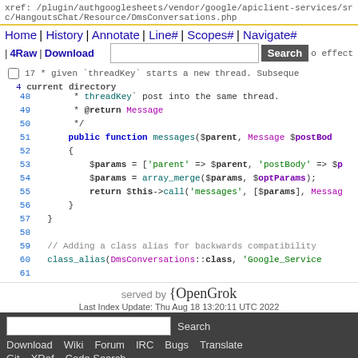xref: /plugin/authgooglesheets/vendor/google/apiclient-services/src/HangoutsChat/Resource/DmsConversations.php
Home | History | Annotate | Line# | Scopes# | Navigate#
| 4Raw | Download | Search | o effect
47 current directory
Code view lines 48-61
served by {OpenGrok
Last Index Update: Thu Aug 18 13:20:11 UTC 2022
Search Download Wiki Forum IRC Bugs Translate Git XRef Code Search